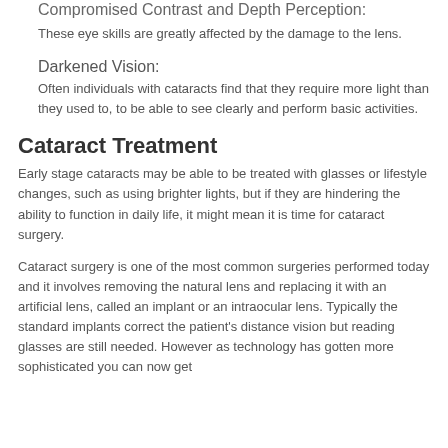Compromised Contrast and Depth Perception:
These eye skills are greatly affected by the damage to the lens.
Darkened Vision:
Often individuals with cataracts find that they require more light than they used to, to be able to see clearly and perform basic activities.
Cataract Treatment
Early stage cataracts may be able to be treated with glasses or lifestyle changes, such as using brighter lights, but if they are hindering the ability to function in daily life, it might mean it is time for cataract surgery.
Cataract surgery is one of the most common surgeries performed today and it involves removing the natural lens and replacing it with an artificial lens, called an implant or an intraocular lens. Typically the standard implants correct the patient’s distance vision but reading glasses are still needed. However as technology has gotten more sophisticated you can now get